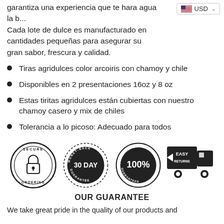garantiza una experiencia que te hara agua la b... Cada lote de dulce es manufacturado en cantidades pequeñas para asegurar su gran sabor, frescura y calidad.
Tiras agridulces color arcoiris con chamoy y chile
Disponibles en 2 presentaciones 16oz y 8 oz
Estas tiritas agridulces están cubiertas con nuestro chamoy casero y mix de chiles
Tolerancia a lo picoso: Adecuado para todos
[Figure (infographic): Four trust badges: Secure Ordering (padlock icon), 30 Day Money-Back Guarantee, 100% Satisfaction Guaranteed, Easy Returns (truck icon)]
OUR GUARANTEE
We take great pride in the quality of our products and